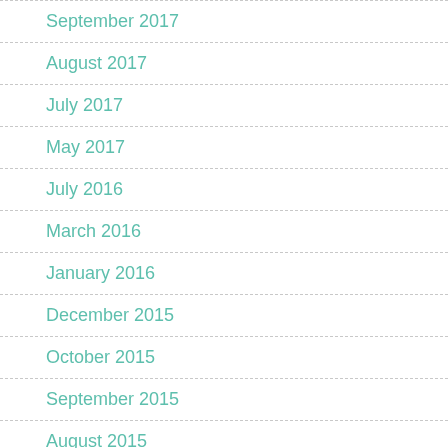September 2017
August 2017
July 2017
May 2017
July 2016
March 2016
January 2016
December 2015
October 2015
September 2015
August 2015
July 2015